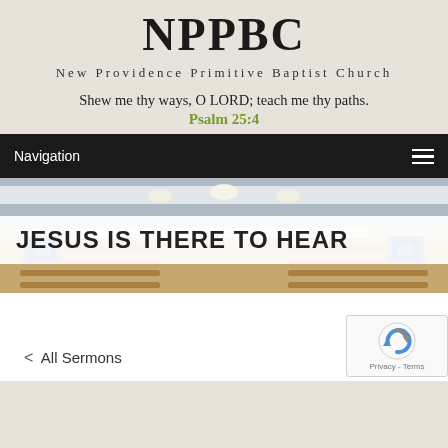NPPBC
New Providence Primitive Baptist Church
Shew me thy ways, O LORD; teach me thy paths.
Psalm 25:4
Navigation
[Figure (photo): Interior of a church sanctuary showing wooden pews, ceiling lights, and blue screens on the sides, with a banner overlay reading JESUS IS THERE TO HEAR]
JESUS IS THERE TO HEAR
< All Sermons